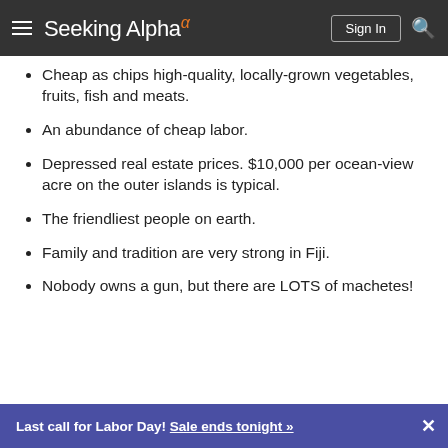Seeking Alpha — Sign In [search]
Cheap as chips high-quality, locally-grown vegetables, fruits, fish and meats.
An abundance of cheap labor.
Depressed real estate prices. $10,000 per ocean-view acre on the outer islands is typical.
The friendliest people on earth.
Family and tradition are very strong in Fiji.
Nobody owns a gun, but there are LOTS of machetes!
Last call for Labor Day! Sale ends tonight »